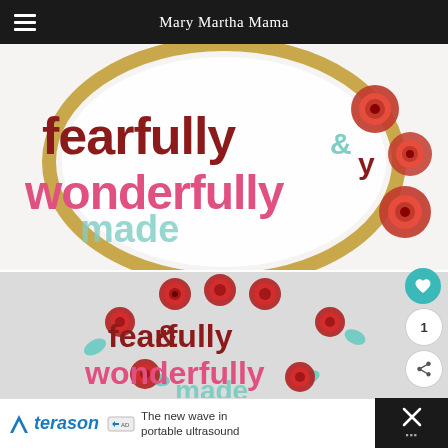Mary Martha Mama
[Figure (photo): Close-up of embroidery hoop showing 'fearfully & wonderfully made' text in dark red and pink with red rose flowers on white fabric background.]
[Figure (photo): Flat layout of 'fearfully & wonderfully made' vinyl design with red roses and teal/mint leaf accents on gray background.]
[Figure (other): Advertisement banner for Terason portable ultrasound with logo and tagline 'The new wave in portable ultrasound'.]